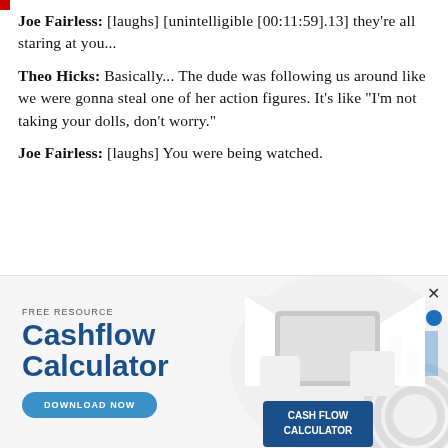Joe Fairless: [laughs] [unintelligible [00:11:59].13] they're all staring at you...
Theo Hicks: Basically... The dude was following us around like we were gonna steal one of her action figures. It's like "I'm not taking your dolls, don't worry."
Joe Fairless: [laughs] You were being watched.
[Figure (infographic): Advertisement banner for a free Cashflow Calculator resource with a Download Now button, showing an image of hands using a tablet/calculator with a CASH FLOW CALCULATOR label, on a light gray background.]